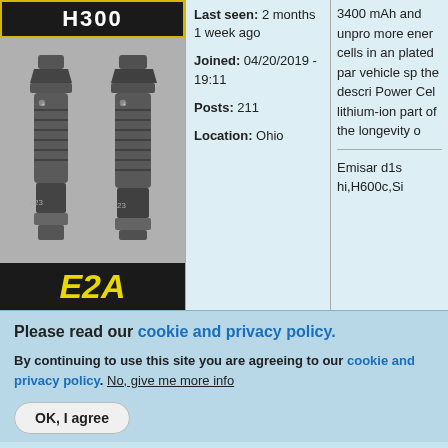[Figure (photo): Product photo of two dark gray tactical flashlights (Surefire style) with H300 banner at top and E2A label at bottom in yellow italic text on black background]
Last seen: 2 months 1 week ago
Joined: 04/20/2019 - 19:11
Posts: 211
Location: Ohio
3400 mAh and unpro more ener cells in an plated par vehicle sp the descri Power Cel lithium-ion part of the longevity o
Emisar d1s hi,H600c,Si
Please read our cookie and privacy policy.
By continuing to use this site you are agreeing to our cookie and privacy policy. No, give me more info
OK, I agree